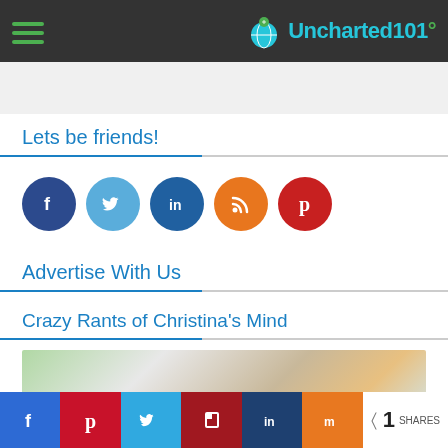Uncharted101 navigation bar with hamburger menu and logo
Lets be friends!
[Figure (illustration): Five social media icons: Facebook (dark blue), Twitter (light blue), LinkedIn (blue), RSS (orange), Pinterest (red)]
Advertise With Us
Crazy Rants of Christina's Mind
[Figure (photo): Partial blog header image showing 'Crazy Rants' text over a blurred photo]
Share bar with Facebook, Pinterest, Twitter, Flipboard, LinkedIn, Mix buttons and 1 SHARES count